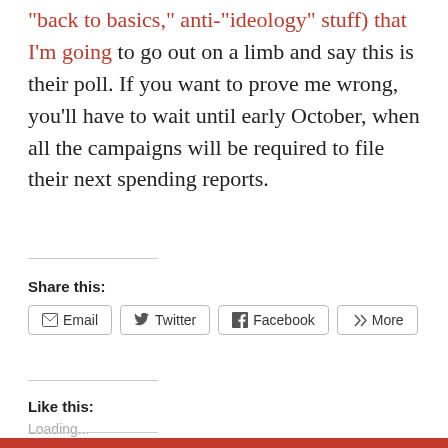“back to basics,” anti-“ideology” stuff) that I’m going to go out on a limb and say this is their poll. If you want to prove me wrong, you’ll have to wait until early October, when all the campaigns will be required to file their next spending reports.
Share this:
Email | Twitter | Facebook | More
Like this:
Loading...
Related